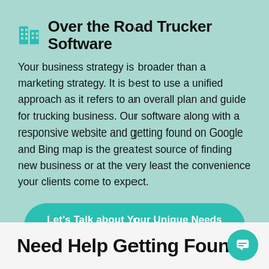Over the Road Trucker Software
Your business strategy is broader than a marketing strategy. It is best to use a unified approach as it refers to an overall plan and guide for trucking business. Our software along with a responsive website and getting found on Google and Bing map is the greatest source of finding new business or at the very least the convenience your clients come to expect.
Let's Talk about Your Unique Needs →
Need Help Getting Found?